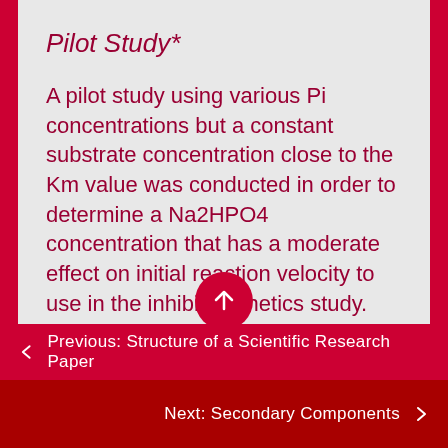Pilot Study*
A pilot study using various Pi concentrations but a constant substrate concentration close to the Km value was conducted in order to determine a Na2HPO4 concentration that has a moderate effect on initial reaction velocity to use in the inhibitor kinetics study. We tested a range of concentrations between 2.5 uM and 200 uM Na2HPO4 in tubes
← Previous: Structure of a Scientific Research Paper
Next: Secondary Components →